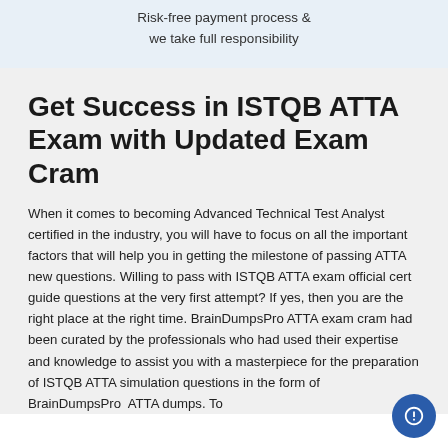Risk-free payment process &
we take full responsibility
Get Success in ISTQB ATTA Exam with Updated Exam Cram
When it comes to becoming Advanced Technical Test Analyst certified in the industry, you will have to focus on all the important factors that will help you in getting the milestone of passing ATTA new questions. Willing to pass with ISTQB ATTA exam official cert guide questions at the very first attempt? If yes, then you are the right place at the right time. BrainDumpsPro ATTA exam cram had been curated by the professionals who had used their expertise and knowledge to assist you with a masterpiece for the preparation of ISTQB ATTA simulation questions in the form of BrainDumpsPro  ATTA dumps. To